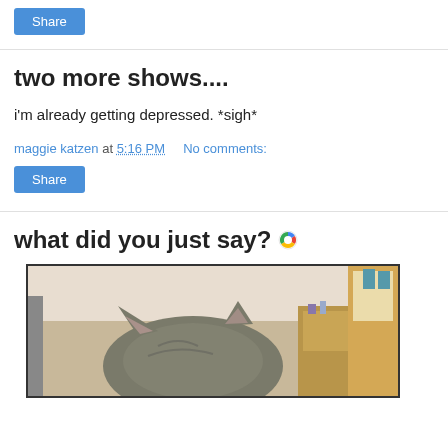Share
two more shows....
i'm already getting depressed. *sigh*
maggie katzen at 5:16 PM   No comments:
Share
what did you just say?
[Figure (photo): A cat viewed from behind, showing the top of its head and ears. The cat is in a room with wooden furniture and a cabinet in the background.]